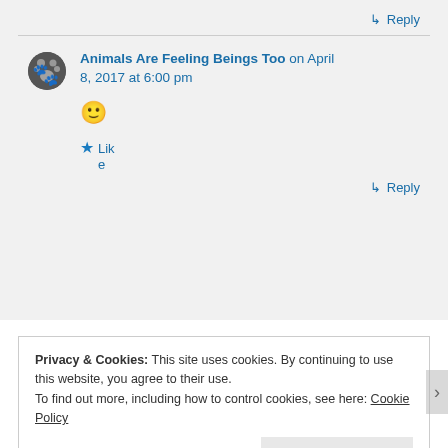↳ Reply
Animals Are Feeling Beings Too on April 8, 2017 at 6:00 pm
🙂
★ Like
↳ Reply
Privacy & Cookies: This site uses cookies. By continuing to use this website, you agree to their use.
To find out more, including how to control cookies, see here: Cookie Policy
Close and accept